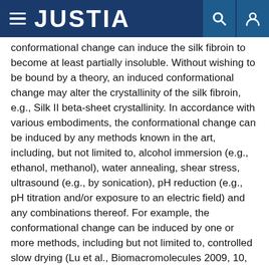JUSTIA
conformational change can induce the silk fibroin to become at least partially insoluble. Without wishing to be bound by a theory, an induced conformational change may alter the crystallinity of the silk fibroin, e.g., Silk II beta-sheet crystallinity. In accordance with various embodiments, the conformational change can be induced by any methods known in the art, including, but not limited to, alcohol immersion (e.g., ethanol, methanol), water annealing, shear stress, ultrasound (e.g., by sonication), pH reduction (e.g., pH titration and/or exposure to an electric field) and any combinations thereof. For example, the conformational change can be induced by one or more methods, including but not limited to, controlled slow drying (Lu et al., Biomacromolecules 2009, 10, 1032); water annealing (Jin et al., 15 Adv. Funct. Mats. 2005, 15, 1241; Hu et al., Biomacromolecules 2011, 12, 1686); stretching (Demura